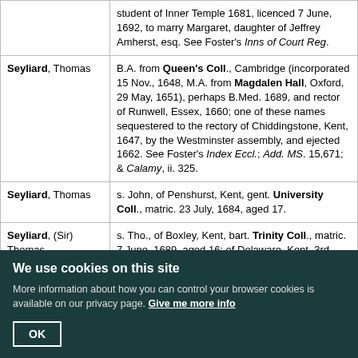| Name | Description |
| --- | --- |
|  | student of Inner Temple 1681, licenced 7 June, 1692, to marry Margaret, daughter of Jeffrey Amherst, esq. See Foster's Inns of Court Reg. |
| Seyliard, Thomas | B.A. from Queen's Coll., Cambridge (incorporated 15 Nov., 1648, M.A. from Magdalen Hall, Oxford, 29 May, 1651), perhaps B.Med. 1689, and rector of Runwell, Essex, 1660; one of these names sequestered to the rectory of Chiddingstone, Kent, 1647, by the Westminster assembly, and ejected 1662. See Foster's Index Eccl.; Add. MS. 15,671; & Calamy, ii. 325. |
| Seyliard, Thomas | s. John, of Penshurst, Kent, gent. University Coll., matric. 23 July, 1684, aged 17. |
| Seyliard, (Sir) Thomas | s. Tho., of Boxley, Kent, bart. Trinity Coll., matric. 7 June, 1689, aged 16; of Delaware, Kent, 3rd bart., died in 1701. |
We use cookies on this site
More information about how you can control your browser cookies is available on our privacy page. Give me more info
OK